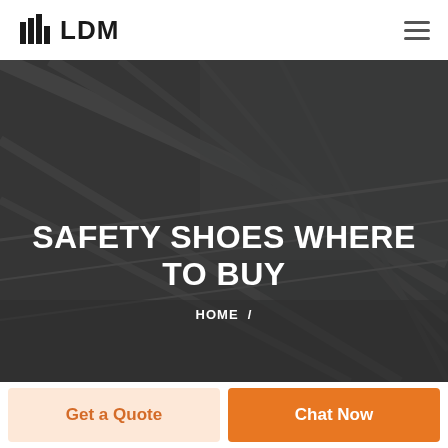LDM
[Figure (photo): Dark architectural background photo showing a building with glass roof/canopy structure, overlaid with a semi-transparent dark overlay]
SAFETY SHOES WHERE TO BUY
HOME /
Get a Quote
Chat Now